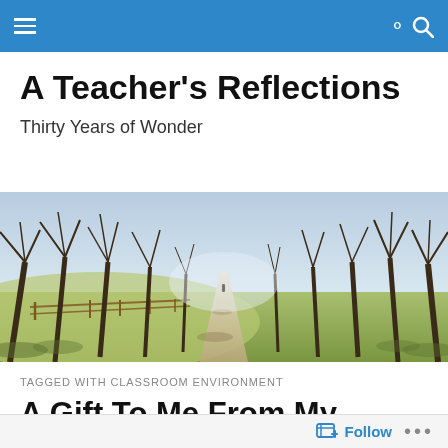A Teacher's Reflections — navigation bar
A Teacher's Reflections
Thirty Years of Wonder
[Figure (photo): A tree-lined path or avenue receding into the distance with misty light; fence visible on the left; bare winter trees on both sides; a lone figure visible in the distance.]
TAGGED WITH CLASSROOM ENVIRONMENT
A Gift To Me From My “Family”
Follow ...